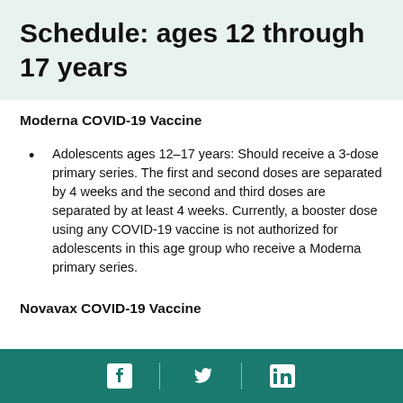Schedule: ages 12 through 17 years
Moderna COVID-19 Vaccine
Adolescents ages 12–17 years: Should receive a 3-dose primary series. The first and second doses are separated by 4 weeks and the second and third doses are separated by at least 4 weeks. Currently, a booster dose using any COVID-19 vaccine is not authorized for adolescents in this age group who receive a Moderna primary series.
Novavax COVID-19 Vaccine
Facebook | Twitter | LinkedIn